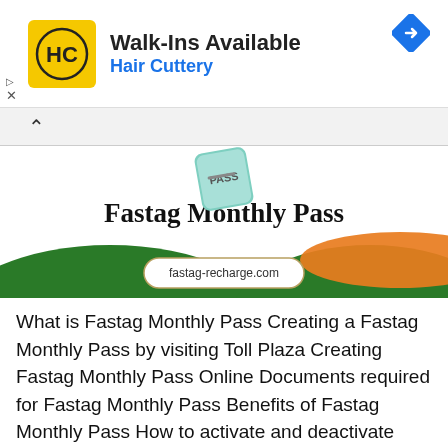[Figure (screenshot): Hair Cuttery advertisement banner with yellow HC logo, text 'Walk-Ins Available' and 'Hair Cuttery' in blue, and a blue navigation arrow icon on the right]
[Figure (infographic): Fastag Monthly Pass banner image with pass icon at top, bold title 'Fastag Monthly Pass', decorative green hills with orange accent, and fastag-recharge.com label in center]
What is Fastag Monthly Pass Creating a Fastag Monthly Pass by visiting Toll Plaza Creating Fastag Monthly Pass Online Documents required for Fastag Monthly Pass Benefits of Fastag Monthly Pass How to activate and deactivate Fastag Monthly Pass Fastag Monthly Pass Toll Charges Local Commerical Fastag Monthly Pass(LCM) How to recharge Fastag Monthly Pass Defense ...